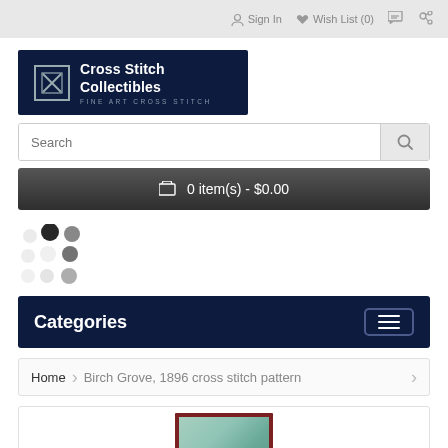Sign In  Wish List (0)  [cart icon]  [share icon]
[Figure (logo): Cross Stitch Collectibles - Fine Art Cross Stitch logo on dark navy background with X icon]
Search
0 item(s) - $0.00
[Figure (other): Loading spinner dots in grid pattern]
Categories
Home  Birch Grove, 1896 cross stitch pattern
[Figure (photo): Product image showing Birch Grove 1896 cross stitch pattern in a dark red frame, depicting trees]